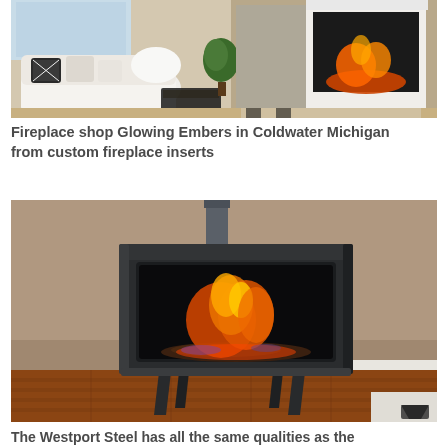[Figure (photo): A cozy living room with a white sofa with decorative pillows, a coffee table, a plant, and a fireplace insert mounted in a white surround with glowing fire effect, and a geometric patterned rug.]
Fireplace shop Glowing Embers in Coldwater Michigan from custom fireplace inserts
[Figure (photo): A black Westport Steel freestanding fireplace stove with glass front showing burning logs/fire, sitting on wooden floor against a beige wall with white baseboard.]
The Westport Steel has all the same qualities as the